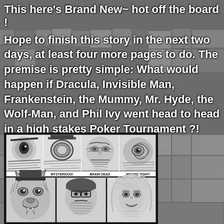This here's Brand New~ hot off the board !
Hope to finish this story in the next two days, at least four more pages to do. The premise is pretty simple: What would happen if Dracula, Invisible Man, Frankenstein, the Mummy, Mr. Hyde, the Wolf-Man, and Phil Ivy went head to head in a high stakes Poker Tournament ?!
[Figure (illustration): Black and white comic panel page showing four characters labeled INTENSE!, MYSTERIOUS!, BRAIN DEAD, WOUND TIGHT! in the top row, and three more monster characters (Wolf-Man, Mr. Hyde, blonde woman) in the bottom row]